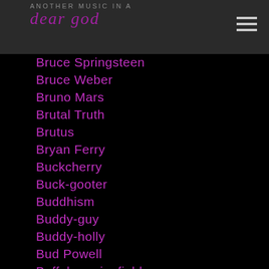dear god
Bruce Springsteen
Bruce Weber
Bruno Mars
Brutal Truth
Brutus
Bryan Ferry
Buckcherry
Buck-gooter
Buddhism
Buddy-guy
Buddy-holly
Bud Powell
Buffalo-springfield
Built-to-spill
Bun-b
Buni-hate-mail
Bunny-lee